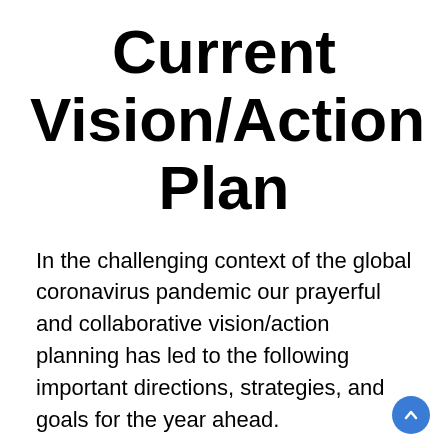Current Vision/Action Plan
In the challenging context of the global coronavirus pandemic our prayerful and collaborative vision/action planning has led to the following important directions, strategies, and goals for the year ahead.
In The Book of Acts we see how the early church, and the apostles of Christ, had to be agile, meeting in a variety of ways and